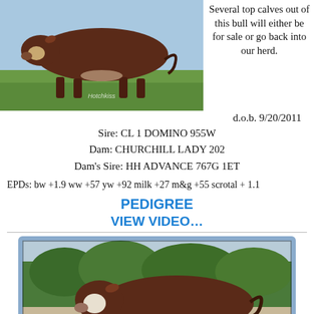[Figure (photo): Hereford bull standing in green pasture, watermark 'Hotchkiss' visible]
Several top calves out of this bull will either be for sale or go back into our herd.
d.o.b. 9/20/2011
Sire: CL 1 DOMINO 955W
Dam: CHURCHILL LADY 202
Dam's Sire: HH ADVANCE 767G 1ET
EPDs: bw +1.9 ww +57 yw +92 milk +27 m&g +55 scrotal + 1.1
PEDIGREE
VIEW VIDEO...
[Figure (photo): Video frame showing Hereford bull standing outdoors with trees in background, displayed in a TV/monitor frame with blue-gray border]